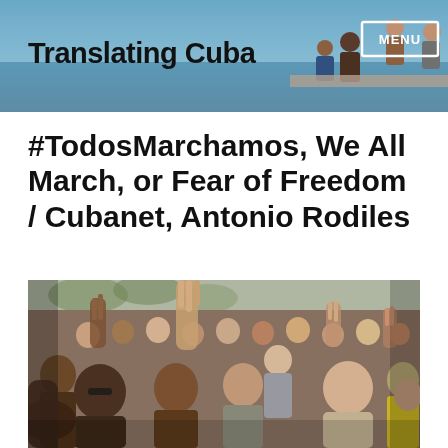Translating Cuba
#TodosMarchamos, We All March, or Fear of Freedom / Cubanet, Antonio Rodiles
[Figure (photo): A crowd of people at a protest raising their hands with two or three fingers extended, taken outdoors in what appears to be a sunny urban setting in Cuba.]